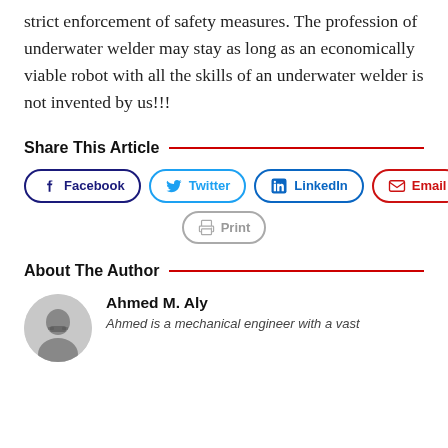strict enforcement of safety measures. The profession of underwater welder may stay as long as an economically viable robot with all the skills of an underwater welder is not invented by us!!!
Share This Article
[Figure (other): Social share buttons: Facebook, Twitter, LinkedIn, Email, Print]
About The Author
[Figure (photo): Circular avatar photo of Ahmed M. Aly]
Ahmed M. Aly
Ahmed is a mechanical engineer with a vast